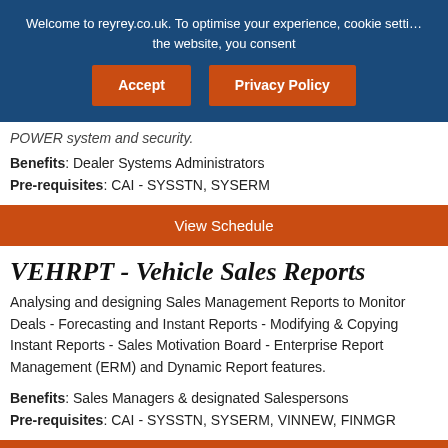Welcome to reyrey.co.uk. To optimise your experience, cookie settings are set. By continuing to use the website, you consent
Accept | Privacy Policy
POWER system and security.
Benefits: Dealer Systems Administrators
Pre-requisites: CAI - SYSSTN, SYSERM
View Schedule
VEHRPT - Vehicle Sales Reports
Analysing and designing Sales Management Reports to Monitor Deals - Forecasting and Instant Reports - Modifying & Copying Instant Reports - Sales Motivation Board - Enterprise Report Management (ERM) and Dynamic Report features.
Benefits: Sales Managers & designated Salespersons
Pre-requisites: CAI - SYSSTN, SYSERM, VINNEW, FINMGR
View Schedule